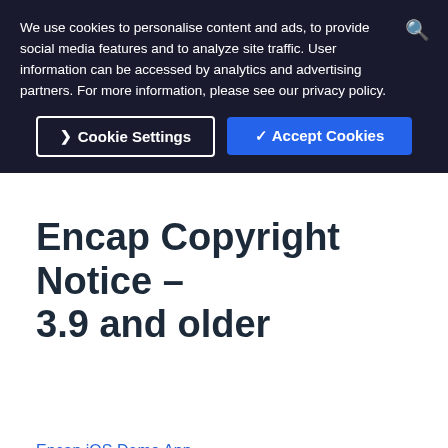We use cookies to personalise content and ads, to provide social media features and to analyze site traffic. User information can be accessed by analytics and advertising partners. For more information, please see our privacy policy.
Cookie Settings | ✓ Accept Cookies
Encap Copyright Notice – 3.9 and older
Encap iOS Demo App
Encap Android Demo App
Encap Android Example Test App
Encap Android Hybrid Authentication App